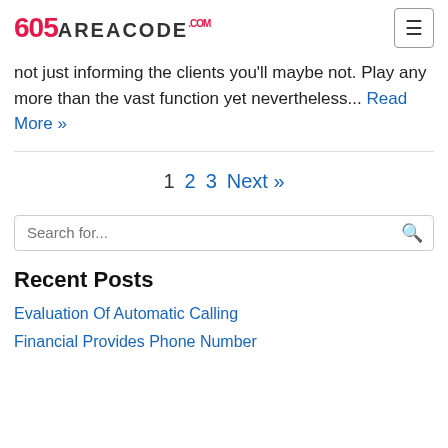605AreaCode.com
not just informing the clients you'll maybe not. Play any more than the vast function yet nevertheless... Read More »
1  2  3  Next »
Search for...
Recent Posts
Evaluation Of Automatic Calling
Financial Provides Phone Number